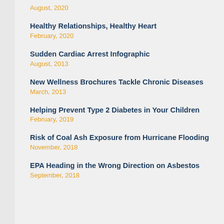August, 2020
Healthy Relationships, Healthy Heart
February, 2020
Sudden Cardiac Arrest Infographic
August, 2013
New Wellness Brochures Tackle Chronic Diseases
March, 2013
Helping Prevent Type 2 Diabetes in Your Children
February, 2019
Risk of Coal Ash Exposure from Hurricane Flooding
November, 2018
EPA Heading in the Wrong Direction on Asbestos
September, 2018